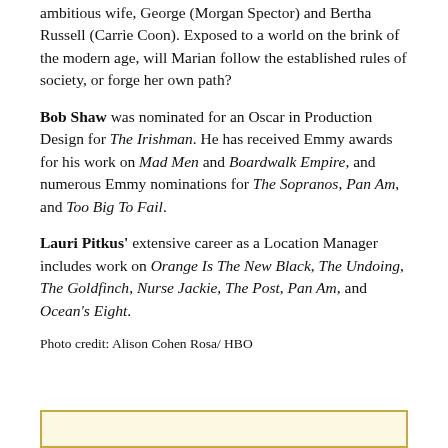ambitious wife, George (Morgan Spector) and Bertha Russell (Carrie Coon). Exposed to a world on the brink of the modern age, will Marian follow the established rules of society, or forge her own path?
Bob Shaw was nominated for an Oscar in Production Design for The Irishman. He has received Emmy awards for his work on Mad Men and Boardwalk Empire, and numerous Emmy nominations for The Sopranos, Pan Am, and Too Big To Fail.
Lauri Pitkus' extensive career as a Location Manager includes work on Orange Is The New Black, The Undoing, The Goldfinch, Nurse Jackie, The Post, Pan Am, and Ocean's Eight.
Photo credit: Alison Cohen Rosa/ HBO
[Figure (other): Yellow-bordered box at bottom of page]